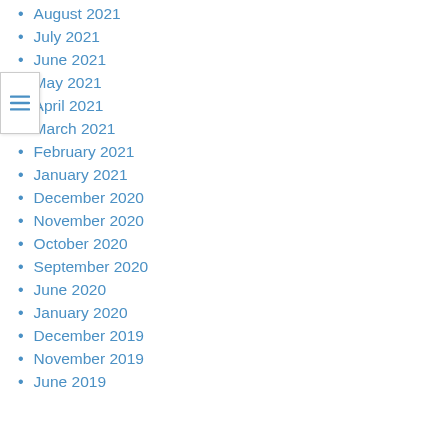August 2021
July 2021
June 2021
May 2021
April 2021
March 2021
February 2021
January 2021
December 2020
November 2020
October 2020
September 2020
June 2020
January 2020
December 2019
November 2019
June 2019